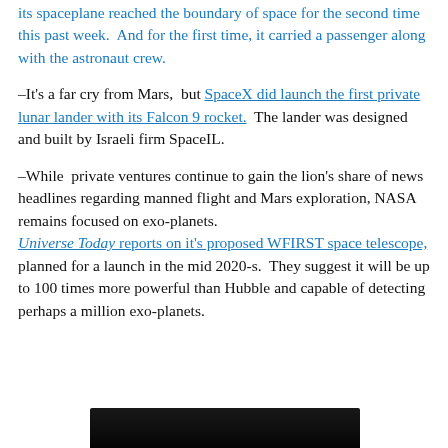its spaceplane reached the boundary of space for the second time this past week.  And for the first time, it carried a passenger along with the astronaut crew.
–It's a far cry from Mars,  but SpaceX did launch the first private lunar lander with its Falcon 9 rocket.  The lander was designed and built by Israeli firm SpaceIL.
–While  private ventures continue to gain the lion's share of news headlines regarding manned flight and Mars exploration, NASA remains focused on exo-planets. Universe Today reports on it's proposed WFIRST space telescope, planned for a launch in the mid 2020-s.  They suggest it will be up to 100 times more powerful than Hubble and capable of detecting perhaps a million exo-planets.
[Figure (photo): Dark/black image strip at bottom of page, appears to be a photo (partially visible)]